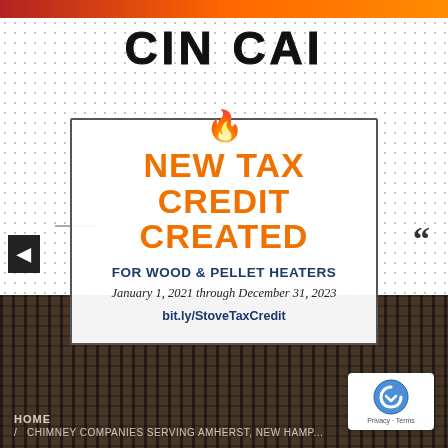[Figure (logo): CIN CAI logo in bold distressed black text with flame icon below]
NEW TAX CREDIT CREATED
FOR WOOD & PELLET HEATERS
January 1, 2021 through December 31, 2023
bit.ly/StoveTaxCredit
[Figure (photo): Dark background photo of metal fire grate or chimney components]
HOME / CHIMNEY COMPANIES SERVING AMHERST, NEW HAMP...